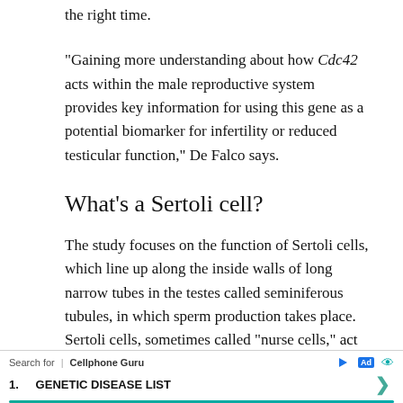the right time.
“Gaining more understanding about how Cdc42 acts within the male reproductive system provides key information for using this gene as a potential biomarker for infertility or reduced testicular function,” De Falco says.
What’s a Sertoli cell?
The study focuses on the function of Sertoli cells, which line up along the inside walls of long narrow tubes in the testes called seminiferous tubules, in which sperm production takes place. Sertoli cells, sometimes called “nurse cells,” act as docking stations that provide nutrients to developing sperm cells.
I...
[Figure (other): Advertisement bar: Search for | Cellphone Guru, with Ad label and eye icon, showing '1. GENETIC DISEASE LIST' with a green arrow chevron]